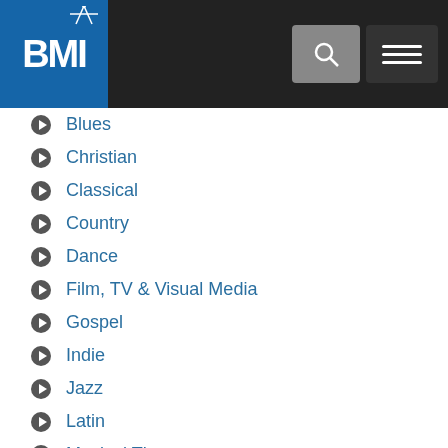BMI
Blues
Christian
Classical
Country
Dance
Film, TV & Visual Media
Gospel
Indie
Jazz
Latin
Musical Theatre
Pop
Rock